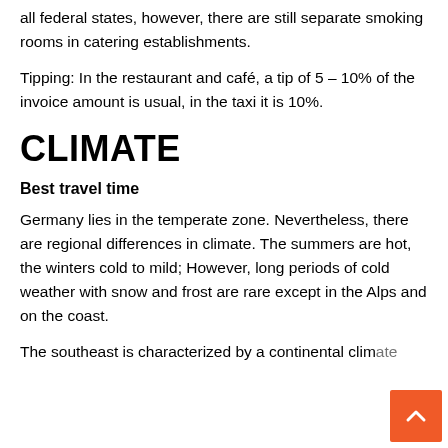all federal states, however, there are still separate smoking rooms in catering establishments.
Tipping: In the restaurant and café, a tip of 5 – 10% of the invoice amount is usual, in the taxi it is 10%.
CLIMATE
Best travel time
Germany lies in the temperate zone. Nevertheless, there are regional differences in climate. The summers are hot, the winters cold to mild; However, long periods of cold weather with snow and frost are rare except in the Alps and on the coast.
The southeast is characterized by a continental climate